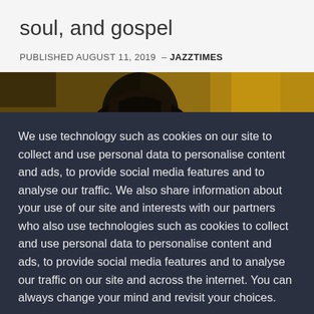soul, and gospel
PUBLISHED AUGUST 11, 2019  –  JAZZTIMES
[Figure (photo): Dark photograph showing a person's head/silhouette against a golden/yellow background]
We use technology such as cookies on our site to collect and use personal data to personalise content and ads, to provide social media features and to analyse our traffic. We also share information about your use of our site and interests with our partners who also use technologies such as cookies to collect and use personal data to personalise content and ads, to provide social media features and to analyse our traffic on our site and across the internet. You can always change your mind and revisit your choices.